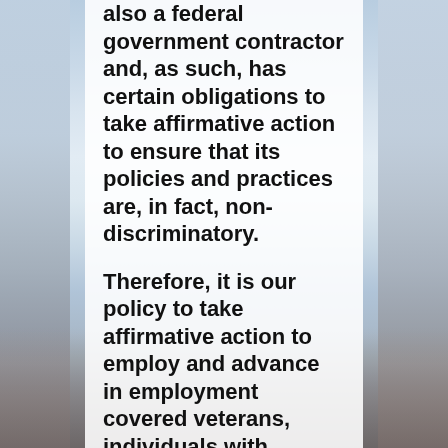also a federal government contractor and, as such, has certain obligations to take affirmative action to ensure that its policies and practices are, in fact, non-discriminatory.
Therefore, it is our policy to take affirmative action to employ and advance in employment covered veterans, individuals with disabilities, women, and minorities. Where required by law, The University of Arizona has established